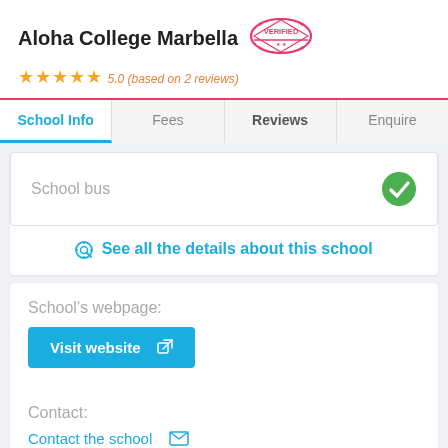Aloha College Marbella
5.0 (based on 2 reviews)
School Info | Fees | Reviews | Enquire
School bus
See all the details about this school
School's webpage:
Visit website
Contact:
Contact the school
This school does not make their fees public for